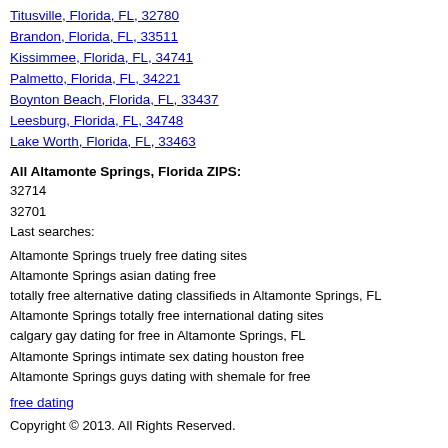Titusville, Florida, FL, 32780
Brandon, Florida, FL, 33511
Kissimmee, Florida, FL, 34741
Palmetto, Florida, FL, 34221
Boynton Beach, Florida, FL, 33437
Leesburg, Florida, FL, 34748
Lake Worth, Florida, FL, 33463
All Altamonte Springs, Florida ZIPS:
32714
32701
Last searches:
Altamonte Springs truely free dating sites
Altamonte Springs asian dating free
totally free alternative dating classifieds in Altamonte Springs, FL
Altamonte Springs totally free international dating sites
calgary gay dating for free in Altamonte Springs, FL
Altamonte Springs intimate sex dating houston free
Altamonte Springs guys dating with shemale for free
free dating
Copyright © 2013. All Rights Reserved.